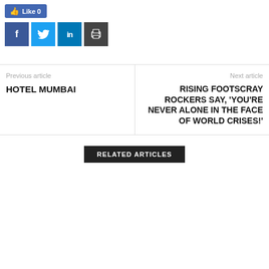[Figure (other): Facebook Like button showing Like 0]
[Figure (other): Social share buttons: Facebook (f), Twitter (bird icon), LinkedIn (in), Print (printer icon)]
Previous article
HOTEL MUMBAI
Next article
RISING FOOTSCRAY ROCKERS SAY, 'YOU'RE NEVER ALONE IN THE FACE OF WORLD CRISES!'
RELATED ARTICLES